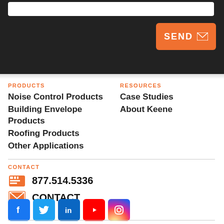[Figure (screenshot): Dark header section with white input bar at top and orange SEND button with envelope icon]
PRODUCTS
Noise Control Products
Building Envelope Products
Roofing Products
Other Applications
RESOURCES
Case Studies
About Keene
CONTACT
877.514.5336
CONTACT
[Figure (infographic): Social media icons row: Facebook, Twitter, LinkedIn, YouTube, Instagram]